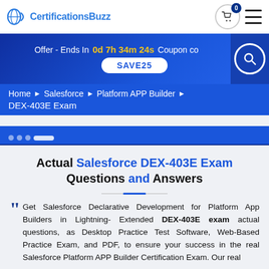CertificationsBuzz
Offer - Ends In 0d 7h 34m 24s Coupon code SAVE25
Home ► Salesforce ► Platform APP Builder ► DEX-403E Exam
Actual Salesforce DEX-403E Exam Questions and Answers
Get Salesforce Declarative Development for Platform App Builders in Lightning- Extended DEX-403E exam actual questions, as Desktop Practice Test Software, Web-Based Practice Exam, and PDF, to ensure your success in the real Salesforce Platform APP Builder Certification Exam. Our real